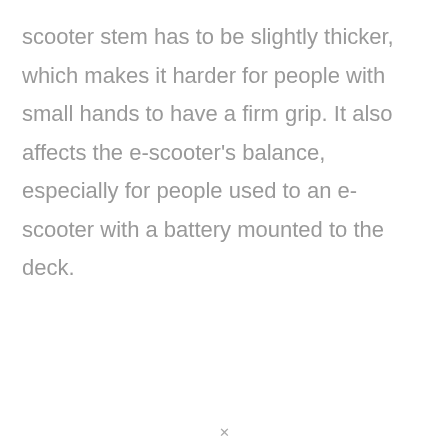scooter stem has to be slightly thicker, which makes it harder for people with small hands to have a firm grip. It also affects the e-scooter's balance, especially for people used to an e-scooter with a battery mounted to the deck.